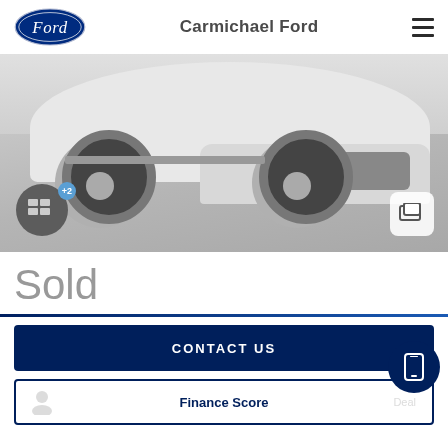Carmichael Ford
[Figure (photo): Front lower angle photo of a white Ford Ranger/SUV truck on pavement, showing the front bumper, grille, and left front wheel. Image has a grayish tint.]
Sold
CONTACT US
Finance Score